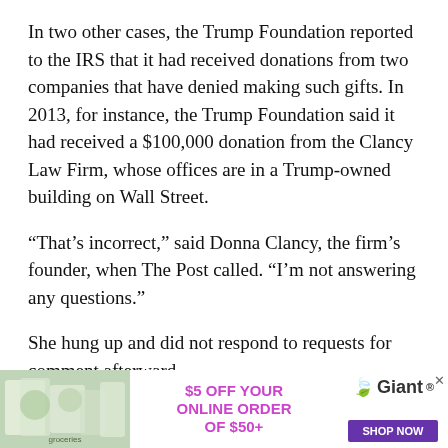In two other cases, the Trump Foundation reported to the IRS that it had received donations from two companies that have denied making such gifts. In 2013, for instance, the Trump Foundation said it had received a $100,000 donation from the Clancy Law Firm, whose offices are in a Trump-owned building on Wall Street.
“That’s incorrect,” said Donna Clancy, the firm’s founder, when The Post called. “I’m not answering any questions.”
She hung up and did not respond to requests for comment afterward.
“All of these things show that the [Trump] foundation is run in a less-than-ideal manner. But that’s not at all
[Figure (other): Advertisement banner for Giant grocery store: '$5 OFF YOUR ONLINE ORDER OF $50+' with Giant logo and 'SHOP NOW' button, with grocery items image on left.]